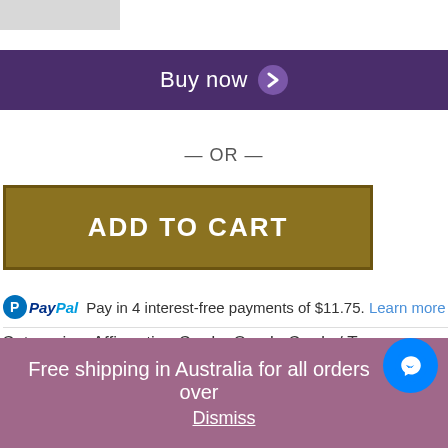[Figure (screenshot): Partial product image thumbnail in grey]
Buy now
— OR —
ADD TO CART
Pay in 4 interest-free payments of $11.75. Learn more
Categories: Affirmation Cards, Oracle Cards / Tags: Affirmation Cards, angels, archangels, card readings, Develop Your Intuition, Develop Your Intuition Oracle Cards, Fucking Powerful Affirmation Cards, intuition, intuition Mindset Cards Cards
Free shipping in Australia for all orders over
Dismiss